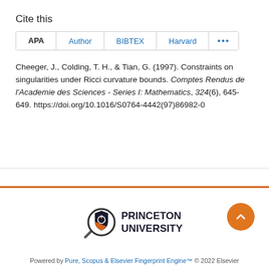Cite this
APA  Author  BIBTEX  Harvard  ...
Cheeger, J., Colding, T. H., & Tian, G. (1997). Constraints on singularities under Ricci curvature bounds. Comptes Rendus de l'Academie des Sciences - Series I: Mathematics, 324(6), 645-649. https://doi.org/10.1016/S0764-4442(97)86982-0
[Figure (logo): Princeton University logo with magnifying glass icon and text PRINCETON UNIVERSITY]
Powered by Pure, Scopus & Elsevier Fingerprint Engine™ © 2022 Elsevier